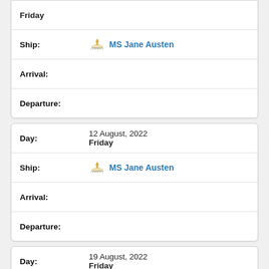Friday
Ship: MS Jane Austen
Arrival:
Departure:
Day: 12 August, 2022 Friday
Ship: MS Jane Austen
Arrival:
Departure:
Day: 19 August, 2022 Friday
Ship: MS Jane Austen